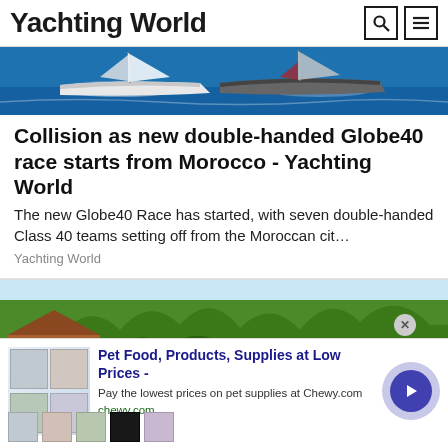Yachting World
[Figure (photo): Two racing sailboats on blue water, close together during a race start]
Collision as new double-handed Globe40 race starts from Morocco - Yachting World
The new Globe40 Race has started, with seven double-handed Class 40 teams setting off from the Moroccan cit…
Yachting World
[Figure (photo): Person working on a blue metal roof, with a cardboard box nearby, trees and houses in the background]
Pet Food, Products, Supplies at Low Prices -
Pay the lowest prices on pet supplies at Chewy.com
chewy.com